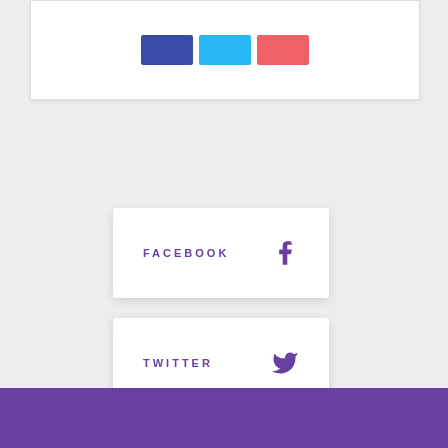[Figure (illustration): Top white card with three color swatches: dark blue/indigo, cyan/sky blue, and coral/red-pink]
FACEBOOK
TWITTER
INSTAGRAM